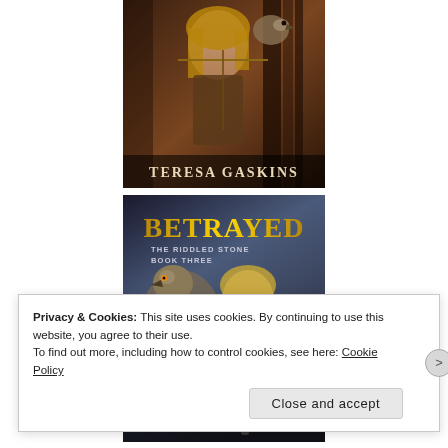[Figure (illustration): Book cover showing a woman with a bow and arrow, with a bird. Author: Teresa Gaskins.]
[Figure (illustration): Book cover titled 'Betrayed: The Riddled Stone Book Three' by Teresa Gaskins, showing a blond bearded man in chainmail holding a sword, with a large bird of prey.]
Privacy & Cookies: This site uses cookies. By continuing to use this website, you agree to their use.
To find out more, including how to control cookies, see here: Cookie Policy